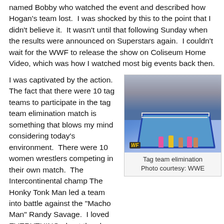named Bobby who watched the event and described how Hogan's team lost.  I was shocked by this to the point that I didn't believe it.  It wasn't until that following Sunday when the results were announced on Superstars again.  I couldn't wait for the WWF to release the show on Coliseum Home Video, which was how I watched most big events back then.
I was captivated by the action.  The fact that there were 10 tag teams to participate in the tag team elimination match is something that blows my mind considering today's environment.  There were 10 women wrestlers competing in their own match.  The Intercontinental champ The Honky Tonk Man led a team into battle against the "Macho Man" Randy Savage.  I loved EVERYTHING about the show (except Hogan's team losing, but I was a mark back then).
[Figure (photo): Aerial view of a WWF wrestling ring during a tag team elimination match with wrestlers visible in and around the ring, surrounded by a large crowd. WWF logo visible in bottom left.]
Tag team elimination
Photo courtesy: WWE